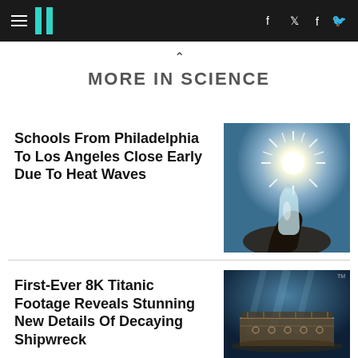HuffPost navigation with hamburger menu, logo, facebook and twitter icons
MORE IN SCIENCE
Schools From Philadelphia To Los Angeles Close Early Due To Heat Waves
[Figure (photo): Person drinking from a water bottle against a bright sun in a blue sky]
First-Ever 8K Titanic Footage Reveals Stunning New Details Of Decaying Shipwreck
[Figure (photo): Underwater image of the Titanic shipwreck]